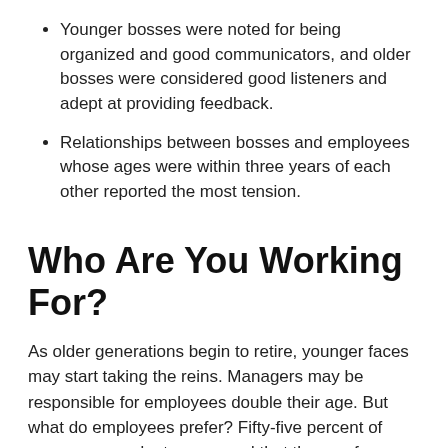Younger bosses were noted for being organized and good communicators, and older bosses were considered good listeners and adept at providing feedback.
Relationships between bosses and employees whose ages were within three years of each other reported the most tension.
Who Are You Working For?
As older generations begin to retire, younger faces may start taking the reins. Managers may be responsible for employees double their age. But what do employees prefer? Fifty-five percent of survey respondents answered that they prefer an older boss, compared to less than 20% who preferred them younger. New advancements in tech, coupled with age bias, can cause older workers to struggle in the